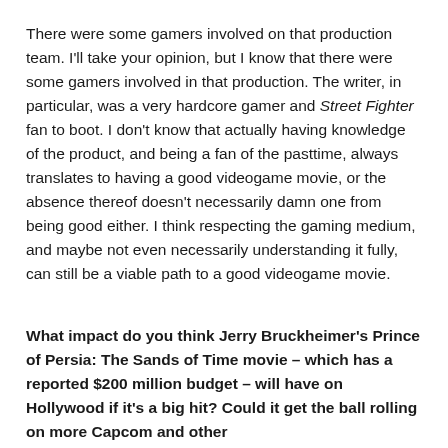There were some gamers involved on that production team. I'll take your opinion, but I know that there were some gamers involved in that production. The writer, in particular, was a very hardcore gamer and Street Fighter fan to boot. I don't know that actually having knowledge of the product, and being a fan of the pasttime, always translates to having a good videogame movie, or the absence thereof doesn't necessarily damn one from being good either. I think respecting the gaming medium, and maybe not even necessarily understanding it fully, can still be a viable path to a good videogame movie.
What impact do you think Jerry Bruckheimer's Prince of Persia: The Sands of Time movie – which has a reported $200 million budget – will have on Hollywood if it's a big hit? Could it get the ball rolling on more Capcom and other